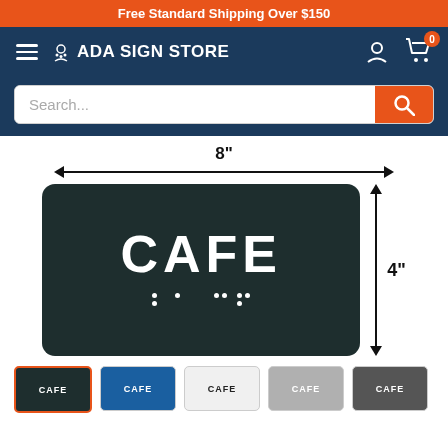Free Standard Shipping Over $150
[Figure (screenshot): ADA Sign Store navigation bar with hamburger menu, logo, user account icon, and shopping cart with 0 items badge]
[Figure (screenshot): Search bar with placeholder text 'Search...' and orange search button]
[Figure (other): Product image of black ADA CAFE sign (8 inches wide by 4 inches tall) with white raised text 'CAFE' and braille dots below. Dimension arrows show 8" width and 4" height.]
[Figure (other): Row of color variant thumbnails for the CAFE sign: black (selected with orange border), blue, white, gray, and dark gray variants]